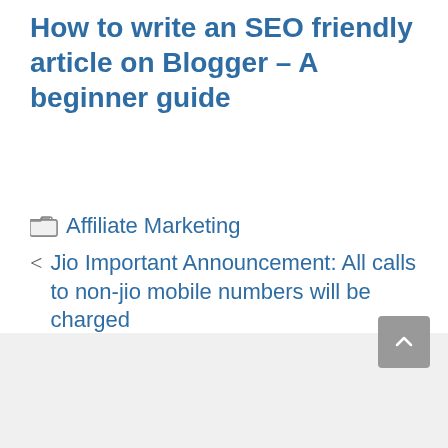How to write an SEO friendly article on Blogger – A beginner guide
Affiliate Marketing
Jio Important Announcement: All calls to non-jio mobile numbers will be charged
How to get Google AdSense approval for a new blog in 2021